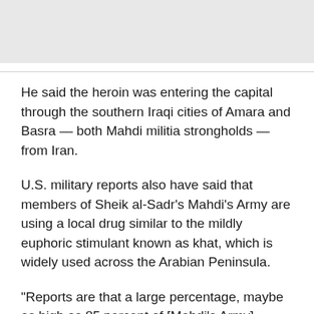[Figure (photo): Image placeholder at top of page]
He said the heroin was entering the capital through the southern Iraqi cities of Amara and Basra — both Mahdi militia strongholds — from Iran.
U.S. military reports also have said that members of Sheik al-Sadr's Mahdi's Army are using a local drug similar to the mildly euphoric stimulant known as khat, which is widely used across the Arabian Peninsula.
“Reports are that a large percentage, maybe as high as 85 percent of [Mahdi’s Army] fighters are using a hallucinogenic drug